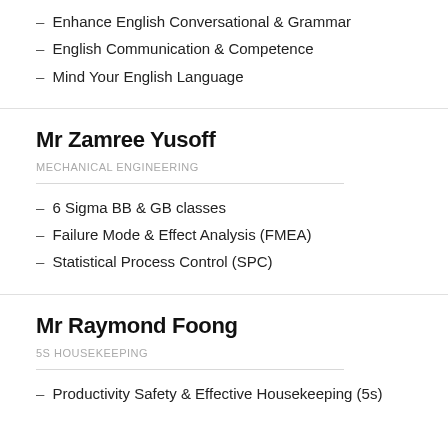– Enhance English Conversational & Grammar
– English Communication & Competence
– Mind Your English Language
Mr Zamree Yusoff
MECHANICAL ENGINEERING
– 6 Sigma BB & GB classes
– Failure Mode & Effect Analysis (FMEA)
– Statistical Process Control (SPC)
Mr Raymond Foong
5S HOUSEKEEPING
– Productivity Safety & Effective Housekeeping (5s)